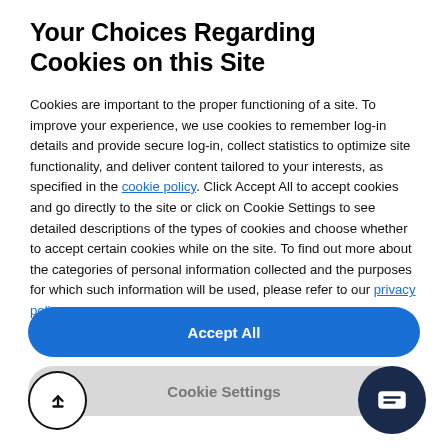Your Choices Regarding Cookies on this Site
Cookies are important to the proper functioning of a site. To improve your experience, we use cookies to remember log-in details and provide secure log-in, collect statistics to optimize site functionality, and deliver content tailored to your interests, as specified in the cookie policy. Click Accept All to accept cookies and go directly to the site or click on Cookie Settings to see detailed descriptions of the types of cookies and choose whether to accept certain cookies while on the site. To find out more about the categories of personal information collected and the purposes for which such information will be used, please refer to our privacy policy.
Accept All
Cookie Settings
graduate with the confidence to demonstrate your value to employers throughout the programme. Some key learning outcomes from your studies will include: